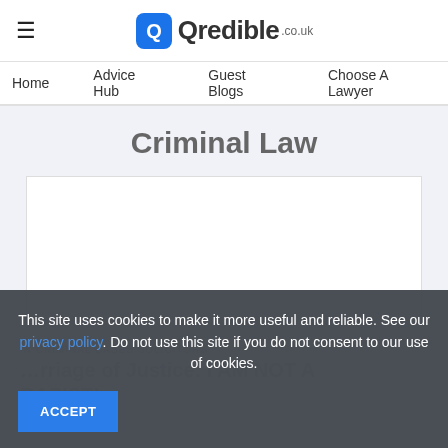Qredible.co.uk
Home   Advice Hub   Guest Blogs   Choose A Lawyer
Criminal Law
[Figure (other): White article card placeholder]
This site uses cookies to make it more useful and reliable. See our privacy policy. Do not use this site if you do not consent to our use of cookies.
ACCEPT